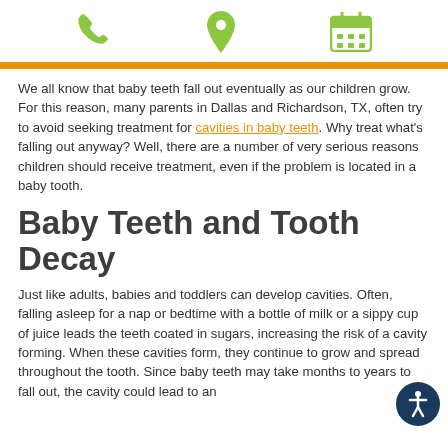[phone icon] [location icon] [calendar icon]
We all know that baby teeth fall out eventually as our children grow. For this reason, many parents in Dallas and Richardson, TX, often try to avoid seeking treatment for cavities in baby teeth. Why treat what's falling out anyway? Well, there are a number of very serious reasons children should receive treatment, even if the problem is located in a baby tooth.
Baby Teeth and Tooth Decay
Just like adults, babies and toddlers can develop cavities. Often, falling asleep for a nap or bedtime with a bottle of milk or a sippy cup of juice leads the teeth coated in sugars, increasing the risk of a cavity forming. When these cavities form, they continue to grow and spread throughout the tooth. Since baby teeth may take months to years to fall out, the cavity could lead to an